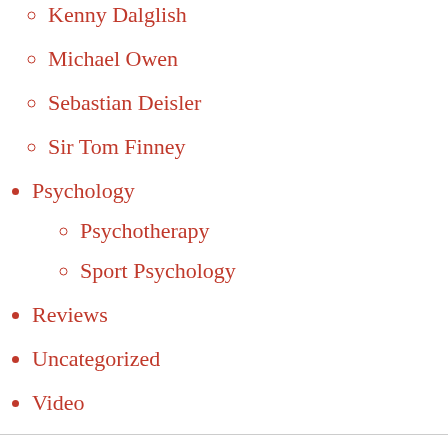Kenny Dalglish
Michael Owen
Sebastian Deisler
Sir Tom Finney
Psychology
Psychotherapy
Sport Psychology
Reviews
Uncategorized
Video
ARCHIVES
February 2011
January 2011